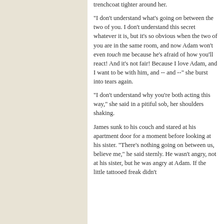trenchcoat tighter around her.

“I don’t understand what’s going on between the two of you. I don’t understand this secret whatever it is, but it’s so obvious when the two of you are in the same room, and now Adam won’t even touch me because he’s afraid of how you’ll react! And it’s not fair! Because I love Adam, and I want to be with him, and -- and --” she burst into tears again.

“I don’t understand why you’re both acting this way,” she said in a pitiful sob, her shoulders shaking.

James sunk to his couch and stared at his apartment door for a moment before looking at his sister. “There’s nothing going on between us, believe me,” he said sternly. He wasn’t angry, not at his sister, but he was angry at Adam. If the little tattooed freak didn’t